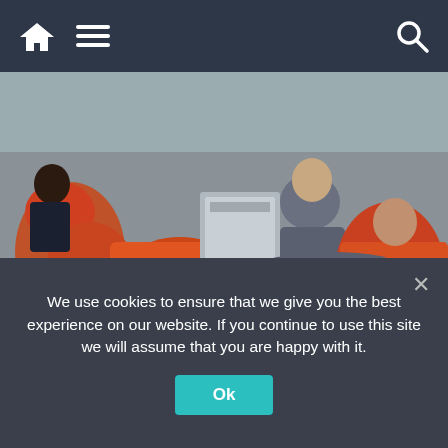Navigation bar with home, menu, and search icons
[Figure (photo): People in orange life jackets on a boat, Border Force and military escort migrants ashore at Dover Docks. © Anadolu Agency via Getty Images]
© Anadolu Agency via Getty Images
The Court of Appeal's decision means Miss Patel's scheme to hand Channel migrants and other 'irregular arrivals' a one-way ticket to the east African nation has avoided falling at the first hurdle. Pictured: Border Force and the military escort migrant ashore at Dover Docks
We use cookies to ensure that we give you the best experience on our website. If you continue to use this site we will assume that you are happy with it. Ok